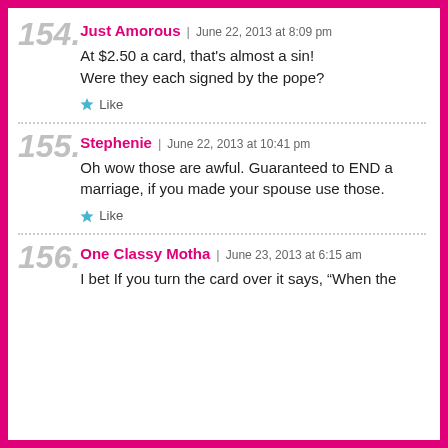Just Amorous | June 22, 2013 at 8:09 pm
154.
At $2.50 a card, that's almost a sin! Were they each signed by the pope?
Like
Stephenie | June 22, 2013 at 10:41 pm
155.
Oh wow those are awful. Guaranteed to END a marriage, if you made your spouse use those.
Like
One Classy Motha | June 23, 2013 at 6:15 am
156.
I bet If you turn the card over it says, "When the